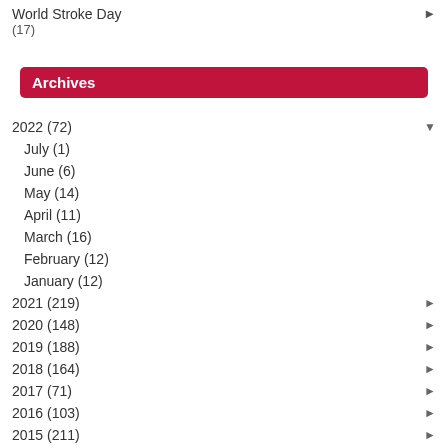World Stroke Day
(17)
Archives
2022 (72)
July (1)
June (6)
May (14)
April (11)
March (16)
February (12)
January (12)
2021 (219)
2020 (148)
2019 (188)
2018 (164)
2017 (71)
2016 (103)
2015 (211)
2014 (207)